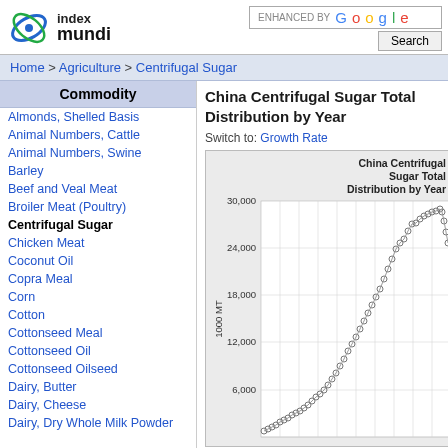index mundi | ENHANCED BY Google | Search
Home > Agriculture > Centrifugal Sugar
| Commodity |
| --- |
| Almonds, Shelled Basis |
| Animal Numbers, Cattle |
| Animal Numbers, Swine |
| Barley |
| Beef and Veal Meat |
| Broiler Meat (Poultry) |
| Centrifugal Sugar |
| Chicken Meat |
| Coconut Oil |
| Copra Meal |
| Corn |
| Cotton |
| Cottonseed Meal |
| Cottonseed Oil |
| Cottonseed Oilseed |
| Dairy, Butter |
| Dairy, Cheese |
| Dairy, Dry Whole Milk Powder |
China Centrifugal Sugar Total Distribution by Year
Switch to: Growth Rate
[Figure (continuous-plot): Scatter/line plot showing China Centrifugal Sugar Total Distribution by Year. Y-axis labeled '1000 MT' with values 0, 6,000, 12,000, 18,000, 24,000, 30,000. Data shows a rising trend from near 0 to approximately 25,000 1000 MT over the years, with a dense cluster of points in recent years reaching a peak around 25,000 before slightly declining.]